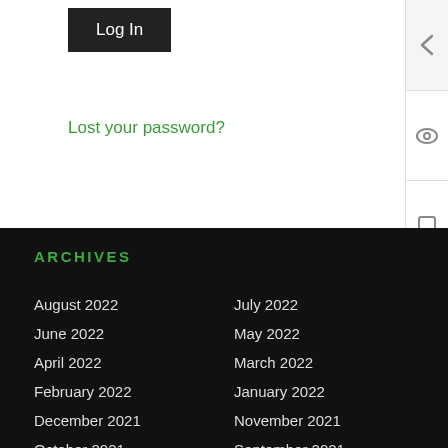Log In
Lost your password?
ARCHIVES
August 2022
July 2022
June 2022
May 2022
April 2022
March 2022
February 2022
January 2022
December 2021
November 2021
October 2021
September 2021
August 2021
July 2021
June 2021
May 2021
April 2021
March 2021
February 2021
January 2021